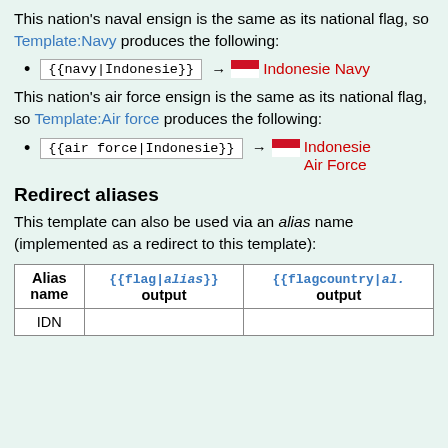This nation's naval ensign is the same as its national flag, so Template:Navy produces the following:
{{navy|Indonesie}} → Indonesie Navy
This nation's air force ensign is the same as its national flag, so Template:Air force produces the following:
{{air force|Indonesie}} → Indonesie Air Force
Redirect aliases
This template can also be used via an alias name (implemented as a redirect to this template):
| Alias name | {{flag|alias}} output | {{flagcountry|al. output |
| --- | --- | --- |
| IDN |  |  |